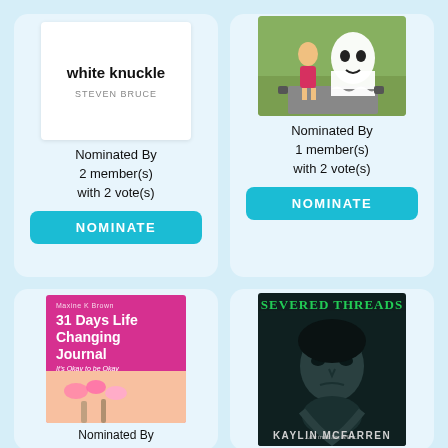[Figure (illustration): Book card for 'white knuckle' by Steven Bruce with white cover showing title and author]
Nominated By 2 member(s) with 2 vote(s)
NOMINATE
[Figure (illustration): Book card with illustration of girl in red dress with ghost, cats]
Nominated By 1 member(s) with 2 vote(s)
NOMINATE
[Figure (illustration): Book cover: 31 Days Life Changing Journal by Maxine K Brown, pink cover with flowers]
Nominated By
[Figure (illustration): Book cover: Severed Threads by Kaylin McFarren, dark cover with woman's face]